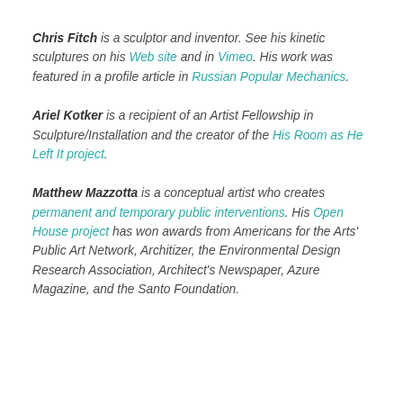Chris Fitch is a sculptor and inventor. See his kinetic sculptures on his Web site and in Vimeo. His work was featured in a profile article in Russian Popular Mechanics.
Ariel Kotker is a recipient of an Artist Fellowship in Sculpture/Installation and the creator of the His Room as He Left It project.
Matthew Mazzotta is a conceptual artist who creates permanent and temporary public interventions. His Open House project has won awards from Americans for the Arts' Public Art Network, Architizer, the Environmental Design Research Association, Architect's Newspaper, Azure Magazine, and the Santo Foundation.